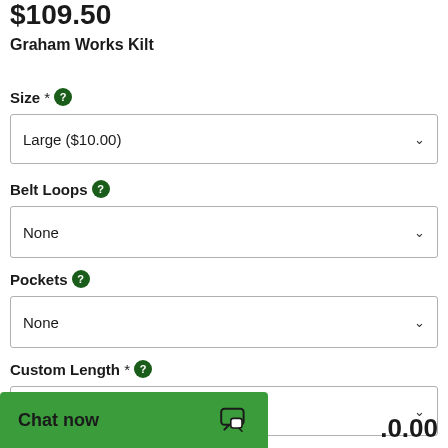$109.50
Graham Works Kilt
Size *?
Large ($10.00)
Belt Loops ?
None
Pockets ?
None
Custom Length *?
Select an option...
Chat now
.0.00